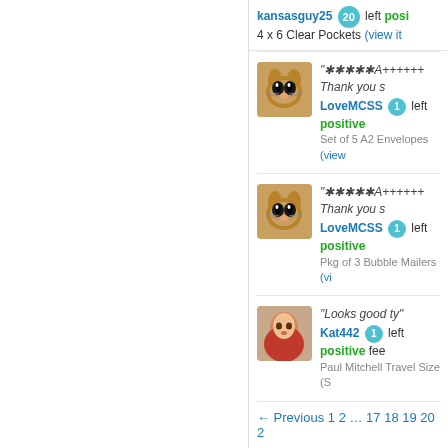kansasguy25 20 left positive
4 x 6 Clear Pockets (view it)
"⭐⭐⭐⭐⭐A++++++ Thank you s
LoveMCSS 1 left positive
Set of 5 A2 Envelopes (view)
"⭐⭐⭐⭐⭐A++++++ Thank you s
LoveMCSS 1 left positive
Pkg of 3 Bubble Mailers (vi)
"Looks good ty"
Kat442 1 left positive fee
Paul Mitchell Travel Size (S)
← Previous 1 2 … 17 18 19 20 2
Sponsored Links